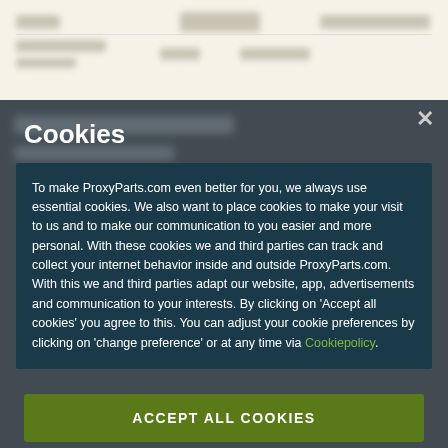[Figure (screenshot): Blurred top section of ProxyParts.com website showing navigation/table header row with blurred text elements on a light beige background]
Cookies
To make ProxyParts.com even better for you, we always use essential cookies. We also want to place cookies to make your visit to us and to make our communication to you easier and more personal. With these cookies we and third parties can track and collect your internet behavior inside and outside ProxyParts.com. With this we and third parties adapt our website, app, advertisements and communication to your interests. By clicking on 'Accept all cookies' you agree to this. You can adjust your cookie preferences by clicking on 'change preference' or at any time via Cookiepolicy.
ACCEPT ALL COOKIES